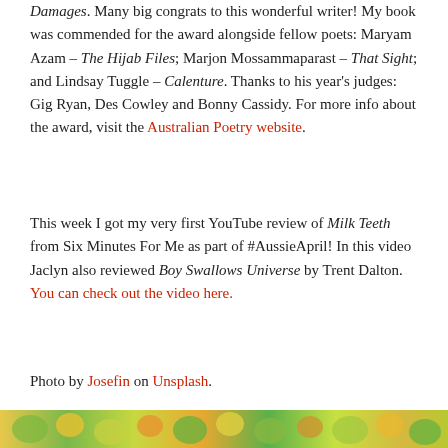Damages. Many big congrats to this wonderful writer! My book was commended for the award alongside fellow poets: Maryam Azam – The Hijab Files; Marjon Mossammaparast – That Sight; and Lindsay Tuggle – Calenture. Thanks to his year's judges: Gig Ryan, Des Cowley and Bonny Cassidy. For more info about the award, visit the Australian Poetry website.
This week I got my very first YouTube review of Milk Teeth from Six Minutes For Me as part of #AussieApril! In this video Jaclyn also reviewed Boy Swallows Universe by Trent Dalton. You can check out the video here.
Photo by Josefin on Unsplash.
[Figure (photo): Colorful flowers or floral arrangement strip at the bottom of the page, featuring yellows, greens, and oranges.]